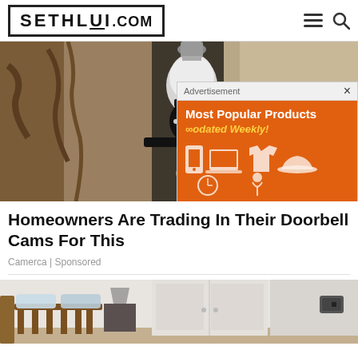SETHLUI.COM
[Figure (photo): Security camera shaped like a light bulb mounted on a wall, with an advertisement overlay showing 'Most Popular Products Updated Weekly!' on an orange background]
Homeowners Are Trading In Their Doorbell Cams For This
Camerca | Sponsored
[Figure (photo): Bedroom interior showing a wooden bed frame with pillows, a wardrobe/closet, and a small security camera on the wall]